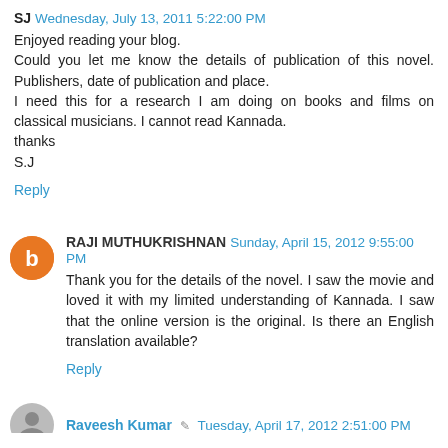SJ Wednesday, July 13, 2011 5:22:00 PM
Enjoyed reading your blog.
Could you let me know the details of publication of this novel. Publishers, date of publication and place.
I need this for a research I am doing on books and films on classical musicians. I cannot read Kannada.
thanks
S.J
Reply
RAJI MUTHUKRISHNAN Sunday, April 15, 2012 9:55:00 PM
Thank you for the details of the novel. I saw the movie and loved it with my limited understanding of Kannada. I saw that the online version is the original. Is there an English translation available?
Reply
Raveesh Kumar Tuesday, April 17, 2012 2:51:00 PM